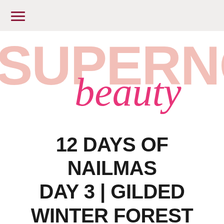≡
[Figure (logo): Supernova Beauty logo: large light pink uppercase text 'SUPERNOV' in background with hot pink cursive 'beauty' script overlaid in foreground]
12 DAYS OF NAILMAS DAY 3 | GILDED WINTER FOREST
[Figure (illustration): Decorative divider: two horizontal pink lines on either side of a pink diamond/rhombus shape in the center]